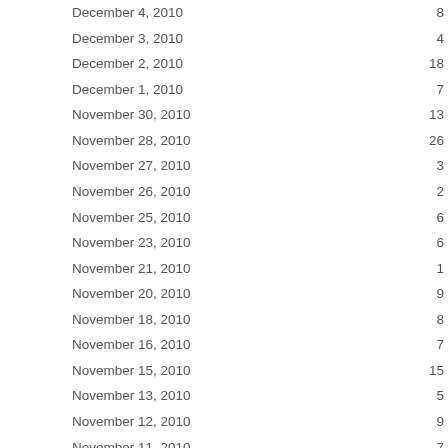| Date | Value |
| --- | --- |
| December 4, 2010 | 8 |
| December 3, 2010 | 4 |
| December 2, 2010 | 18 |
| December 1, 2010 | 7 |
| November 30, 2010 | 13 |
| November 28, 2010 | 26 |
| November 27, 2010 | 3 |
| November 26, 2010 | 2 |
| November 25, 2010 | 6 |
| November 23, 2010 | 6 |
| November 21, 2010 | 1 |
| November 20, 2010 | 9 |
| November 18, 2010 | 8 |
| November 16, 2010 | 7 |
| November 15, 2010 | 15 |
| November 13, 2010 | 5 |
| November 12, 2010 | 9 |
| November 11, 2010 | 7 |
| November 10, 2010 | 8 |
| November 9, 2010 | 14 |
| November 7, 2010 | 13 |
| November 6, 2010 | 8 |
| November 5, 2010 | 13 |
| November 4, 2010 |  |